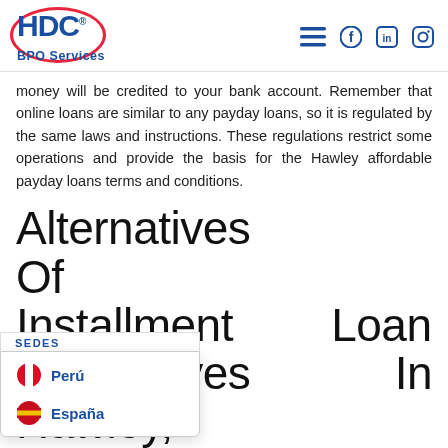HDC BPO Services — navigation header with logo and social icons
money will be credited to your bank account. Remember that online loans are similar to any payday loans, so it is regulated by the same laws and instructions. These regulations restrict some operations and provide the basis for the Hawley affordable payday loans terms and conditions.
Alternatives Of Installment Loan Alternatives In Hawley, Texas